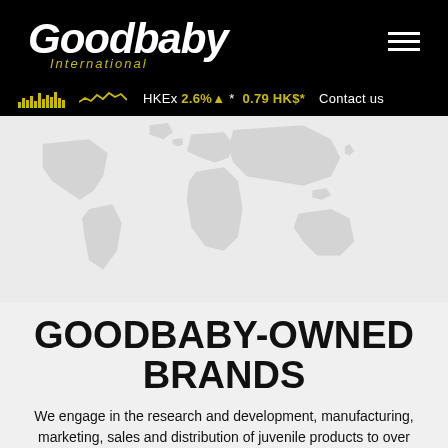[Figure (logo): Goodbaby International logo in white italic text on black background with yellow 'International' subtitle]
HKEx 2.6%▲ * 0.79 HK$* Contact us
[Figure (map): Faded world map silhouette on light gray background]
GOODBABY-OWNED BRANDS
We engage in the research and development, manufacturing, marketing, sales and distribution of juvenile products to over 100 countries.